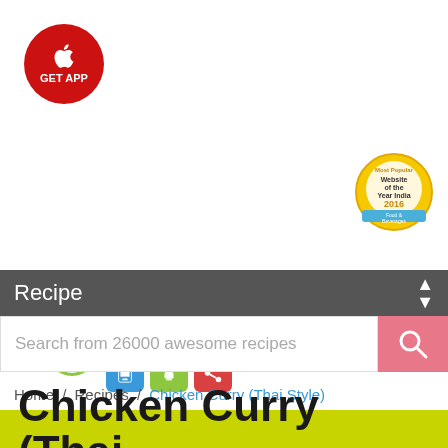[Figure (logo): Red circular GET APP button with Apple logo icon]
[Figure (logo): Sify Bawarchi logo with hamburger menu circle, brand name in grey/green italic, and three icon boxes (phone, chef, share)]
[Figure (logo): Most Popular Website of the Year India 2016 Food & Beverages award badge]
Recipe
Search from 26000 awesome recipes
Home / Recipes / Chicken Curry (Thai Style)
Chicken Curry (Thai